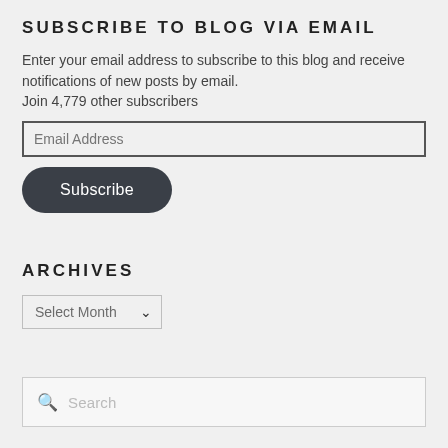Subscribe to Blog via Email
Enter your email address to subscribe to this blog and receive notifications of new posts by email. Join 4,779 other subscribers
[Figure (other): Email address input field with placeholder 'Email Address' and a dark rounded Subscribe button]
Archives
[Figure (other): Dropdown select widget labeled 'Select Month' for archives navigation]
[Figure (other): Search input box with magnifying glass icon and 'Search' placeholder text]
Recent Comments